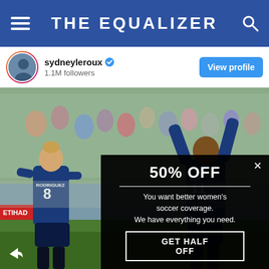THE EQUALIZER
sydneyleroux 1.1M followers
View profile
[Figure (photo): Soccer players celebrating — RODRIGUEZ #8 and LEROUX, in blue jerseys, with crowd in background]
50% OFF
You want better women's soccer coverage. We have everything you need.
GET HALF OFF